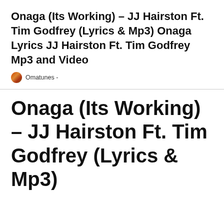Onaga (Its Working) – JJ Hairston Ft. Tim Godfrey (Lyrics & Mp3) Onaga Lyrics JJ Hairston Ft. Tim Godfrey Mp3 and Video
Omatunes -
Onaga (Its Working) – JJ Hairston Ft. Tim Godfrey (Lyrics & Mp3)